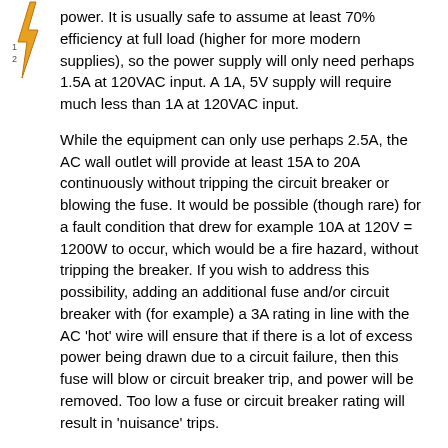power. It is usually safe to assume at least 70% efficiency at full load (higher for more modern supplies), so the power supply will only need perhaps 1.5A at 120VAC input. A 1A, 5V supply will require much less than 1A at 120VAC input.
While the equipment can only use perhaps 2.5A, the AC wall outlet will provide at least 15A to 20A continuously without tripping the circuit breaker or blowing the fuse. It would be possible (though rare) for a fault condition that drew for example 10A at 120V = 1200W to occur, which would be a fire hazard, without tripping the breaker. If you wish to address this possibility, adding an additional fuse and/or circuit breaker with (for example) a 3A rating in line with the AC 'hot' wire will ensure that if there is a lot of excess power being drawn due to a circuit failure, then this fuse will blow or circuit breaker trip, and power will be removed. Too low a fuse or circuit breaker rating will result in 'nuisance' trips.
SETUP
Make sure you use a Regulated Power Supply, make sure you connect the ground wire for the mains to the power